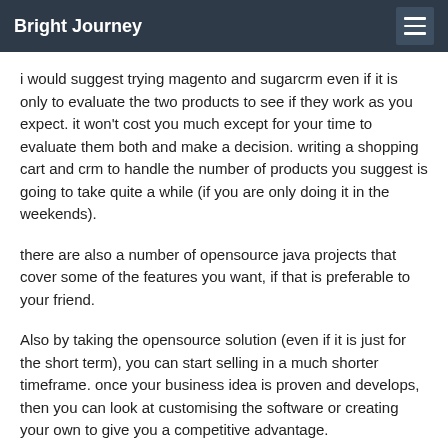Bright Journey
i would suggest trying magento and sugarcrm even if it is only to evaluate the two products to see if they work as you expect. it won't cost you much except for your time to evaluate them both and make a decision. writing a shopping cart and crm to handle the number of products you suggest is going to take quite a while (if you are only doing it in the weekends).
there are also a number of opensource java projects that cover some of the features you want, if that is preferable to your friend.
Also by taking the opensource solution (even if it is just for the short term), you can start selling in a much shorter timeframe. once your business idea is proven and develops, then you can look at customising the software or creating your own to give you a competitive advantage.